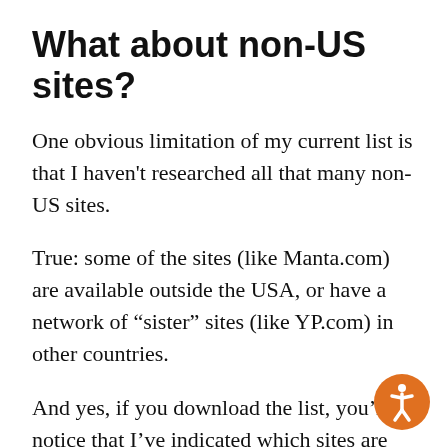What about non-US sites?
One obvious limitation of my current list is that I haven't researched all that many non-US sites.
True: some of the sites (like Manta.com) are available outside the USA, or have a network of “sister” sites (like YP.com) in other countries.
And yes, if you download the list, you’ll notice that I’ve indicated which sites are “international.”  That should help you if y located outside the US.